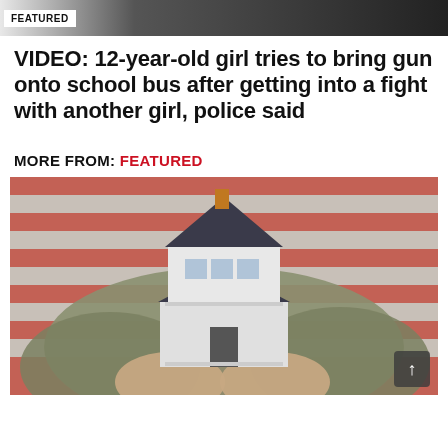FEATURED
VIDEO: 12-year-old girl tries to bring gun onto school bus after getting into a fight with another girl, police said
MORE FROM: FEATURED
[Figure (photo): A person in military camouflage uniform holding a small model house, with an American flag in the background.]